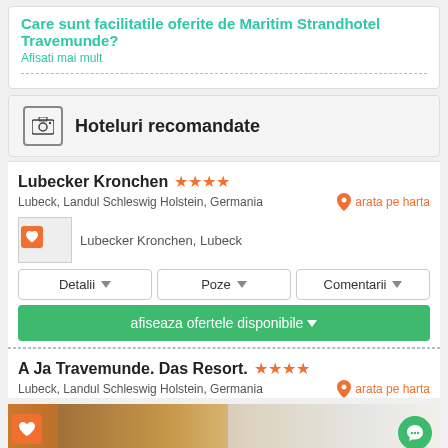Care sunt facilitatile oferite de Maritim Strandhotel Travemunde?
Hoteluri recomandate
Lubecker Kronchen ★★★★
Lubeck, Landul Schleswig Holstein, Germania
arata pe harta
[Figure (photo): Lubecker Kronchen, Lubeck hotel image placeholder with heart icon]
Detalii | Poze | Comentarii
afiseaza ofertele disponibile
A Ja Travemunde. Das Resort. ★★★★
Lubeck, Landul Schleswig Holstein, Germania
arata pe harta
[Figure (photo): A Ja Travemunde Das Resort hotel room image with heart icon and chat bubble]